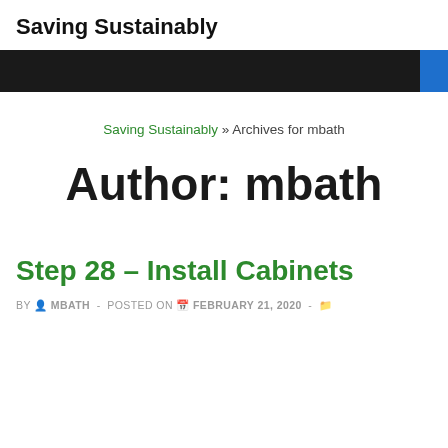Saving Sustainably
[Figure (other): Dark navigation bar with black background and a blue accent block on the right side]
Saving Sustainably » Archives for mbath
Author: mbath
Step 28 – Install Cabinets
BY MBATH - POSTED ON FEBRUARY 21, 2020 -